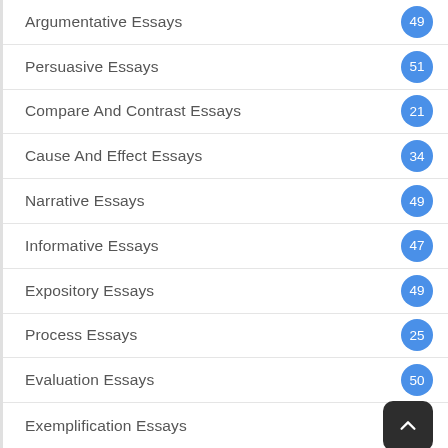Argumentative Essays
Persuasive Essays
Compare And Contrast Essays
Cause And Effect Essays
Narrative Essays
Informative Essays
Expository Essays
Process Essays
Evaluation Essays
Exemplification Essays